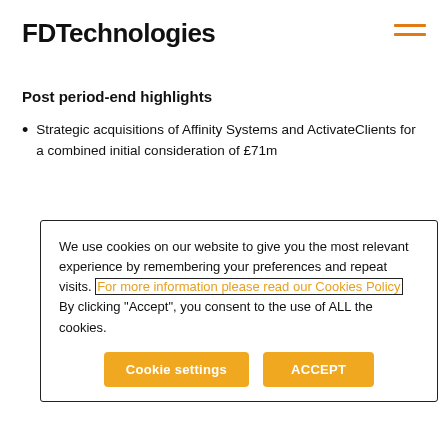FDTechnologies
Post period-end highlights
Strategic acquisitions of Affinity Systems and ActivateClients for a combined initial consideration of £71m
We use cookies on our website to give you the most relevant experience by remembering your preferences and repeat visits. For more information please read our Cookies Policy By clicking "Accept", you consent to the use of ALL the cookies.